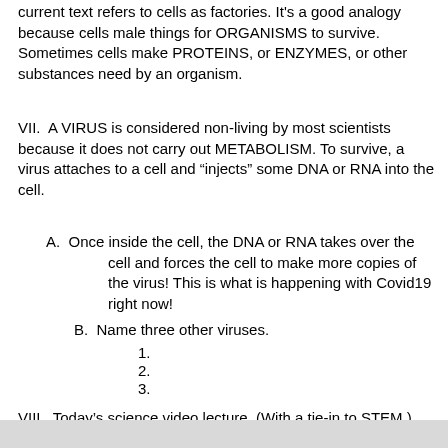current text refers to cells as factories. It's a good analogy because cells male things for ORGANISMS to survive. Sometimes cells make PROTEINS, or ENZYMES, or other substances need by an organism.
VII. A VIRUS is considered non-living by most scientists because it does not carry out METABOLISM. To survive, a virus attaches to a cell and “injects” some DNA or RNA into the cell.
A. Once inside the cell, the DNA or RNA takes over the cell and forces the cell to make more copies of the virus! This is what is happening with Covid19 right now!
B. Name three other viruses.
1.
2.
3.
VIII. Today’s science video lecture. (With a tie-in to STEM.) https://www.youtube.com/watch?v=FKGVqxUYvwo